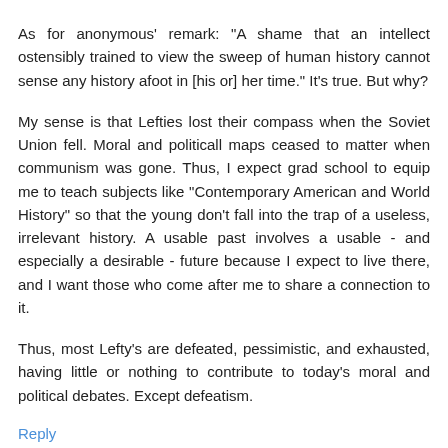As for anonymous' remark: "A shame that an intellect ostensibly trained to view the sweep of human history cannot sense any history afoot in [his or] her time." It's true. But why?
My sense is that Lefties lost their compass when the Soviet Union fell. Moral and politicall maps ceased to matter when communism was gone. Thus, I expect grad school to equip me to teach subjects like "Contemporary American and World History" so that the young don't fall into the trap of a useless, irrelevant history. A usable past involves a usable - and especially a desirable - future because I expect to live there, and I want those who come after me to share a connection to it.
Thus, most Lefty's are defeated, pessimistic, and exhausted, having little or nothing to contribute to today's moral and political debates. Except defeatism.
Reply